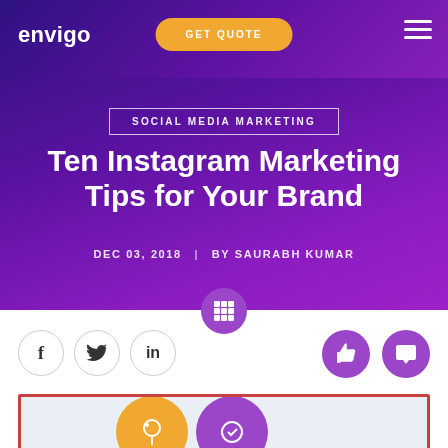envigo
GET QUOTE
SOCIAL MEDIA MARKETING
Ten Instagram Marketing Tips for Your Brand
DEC 03, 2018 | BY SAURABH KUMAR
[Figure (screenshot): Website header screenshot for envigo blog post about Ten Instagram Marketing Tips for Your Brand, showing purple gradient background, navigation bar with logo and GET QUOTE button, social media share icons (Facebook, Twitter, LinkedIn), and partial featured image at bottom.]